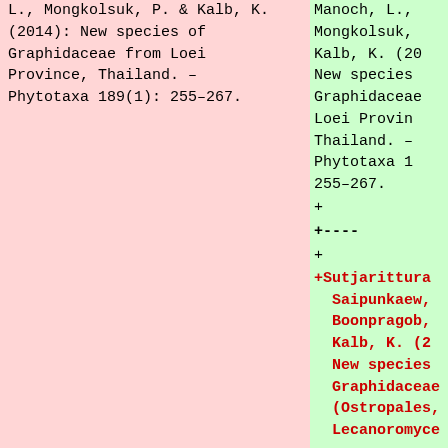L., Mongkolsuk, P. & Kalb, K. (2014): New species of Graphidaceae from Loei Province, Thailand. – Phytotaxa 189(1): 255–267.
Manoch, L., Mongkolsuk, Kalb, K. (20 New species Graphidaceae Loei Provin Thailand. – Phytotaxa 1 255–267.
+
+----
+
+Sutjarittura Saipunkaew, Boonpragob, Kalb, K. (2 New species Graphidaceae (Ostropales, Lecanoromyce